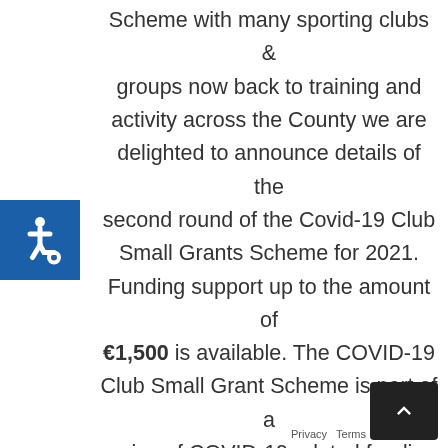[Figure (illustration): Wheelchair accessibility icon in blue square]
Scheme with many sporting clubs & groups now back to training and activity across the County we are delighted to announce details of the second round of the Covid-19 Club Small Grants Scheme for 2021. Funding support up to the amount of €1,500 is available. The COVID-19 Club Small Grant Scheme is part of a series of COVID-19 related funding schemes from Sport Ireland and the Government to support the sports sector in response to the current crisis. The COVID-19 Club Small Grant Scheme will provide assistance to local clubs with covering costs